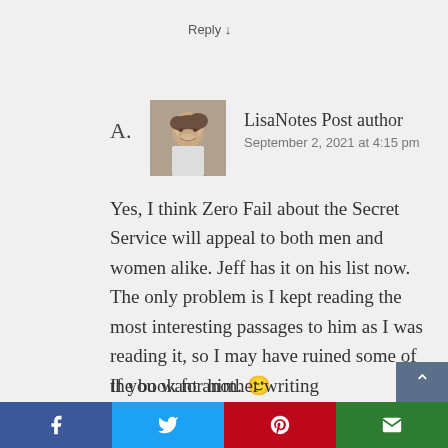Reply ↓
A.   LisaNotes Post author
September 2, 2021 at 4:15 pm
Yes, I think Zero Fail about the Secret Service will appeal to both men and women alike. Jeff has it on his list now. The only problem is I kept reading the most interesting passages to him as I was reading it, so I may have ruined some of the book for him. 🙂
If you want another writing
f  t  p  ✉